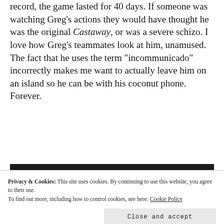record, the game lasted for 40 days. If someone was watching Greg’s actions they would have thought he was the original Castaway, or was a severe schizo. I love how Greg’s teammates look at him, unamused. The fact that he uses the term “incommunicado” incorrectly makes me want to actually leave him on an island so he can be with his coconut phone. Forever.
Privacy & Cookies: This site uses cookies. By continuing to use this website, you agree to their use.
To find out more, including how to control cookies, see here: Cookie Policy